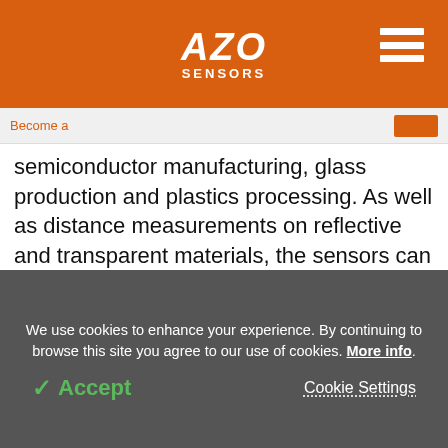AZO SENSORS
Become a ...
semiconductor manufacturing, glass production and plastics processing. As well as distance measurements on reflective and transparent materials, the sensors can also be used for one-sided thickness measurement of clear film, boards or layers. The sensors do not contain any electrical components and so are also suitable for use in ATEX
We use cookies to enhance your experience. By continuing to browse this site you agree to our use of cookies. More info.
Accept
Cookie Settings